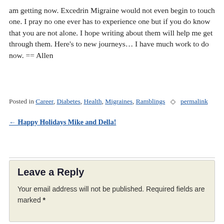am getting now.  Excedrin Migraine would not even begin to touch one.  I pray no one ever has to experience one but if you do know that you are not alone.  I hope writing about them will help me get through them.  Here's to new journeys… I have much work to do now.  == Allen
Posted in Career, Diabetes, Health, Migraines, Ramblings 🔗 permalink
← Happy Holidays Mike and Della!
Leave a Reply
Your email address will not be published. Required fields are marked *